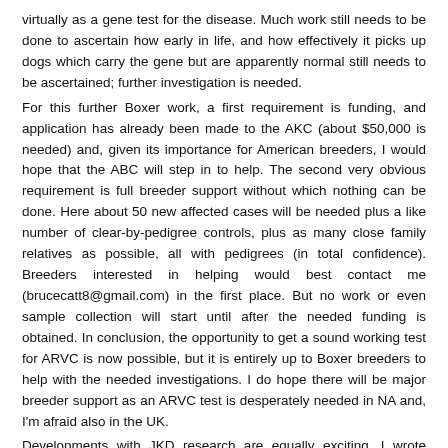virtually as a gene test for the disease. Much work still needs to be done to ascertain how early in life, and how effectively it picks up dogs which carry the gene but are apparently normal still needs to be ascertained; further investigation is needed.
For this further Boxer work, a first requirement is funding, and application has already been made to the AKC (about $50,000 is needed) and, given its importance for American breeders, I would hope that the ABC will step in to help. The second very obvious requirement is full breeder support without which nothing can be done. Here about 50 new affected cases will be needed plus a like number of clear-by-pedigree controls, plus as many close family relatives as possible, all with pedigrees (in total confidence). Breeders interested in helping would best contact me (brucecatt8@gmail.com) in the first place. But no work or even sample collection will start until after the needed funding is obtained. In conclusion, the opportunity to get a sound working test for ARVC is now possible, but it is entirely up to Boxer breeders to help with the needed investigations. I do hope there will be major breeder support as an ARVC test is desperately needed in NA and, I'm afraid also in the UK.
Developments with JKD research are equally exciting. I wrote earlier about Professor Amos' new findings, and progress continues He is quite confident that he has found the chromosome on which the gene for JKD lies, this